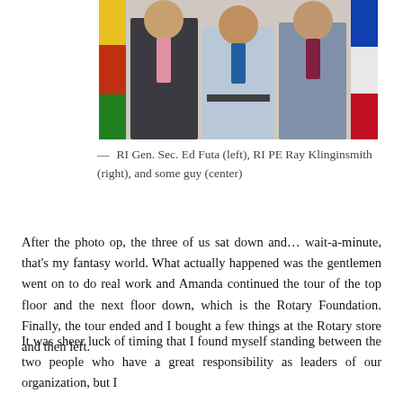[Figure (photo): Three men standing together in formal attire in front of flags — RI Gen. Sec. Ed Futa (left), RI PE Ray Klinginsmith (right), and a third person in the center.]
— RI Gen. Sec. Ed Futa (left), RI PE Ray Klinginsmith (right), and some guy (center)
After the photo op, the three of us sat down and... wait-a-minute, that's my fantasy world. What actually happened was the gentlemen went on to do real work and Amanda continued the tour of the top floor and the next floor down, which is the Rotary Foundation. Finally, the tour ended and I bought a few things at the Rotary store and then left.
It was sheer luck of timing that I found myself standing between the two people who have a great responsibility as leaders of our organization, but I